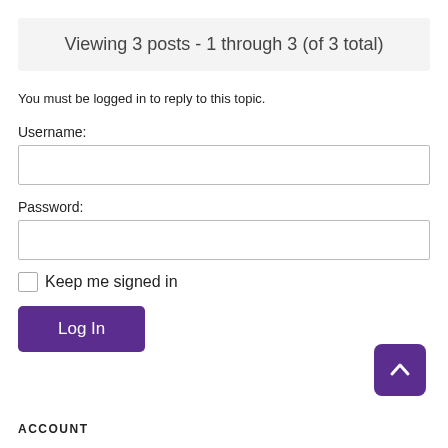Viewing 3 posts - 1 through 3 (of 3 total)
You must be logged in to reply to this topic.
Username:
Password:
Keep me signed in
Log In
ACCOUNT